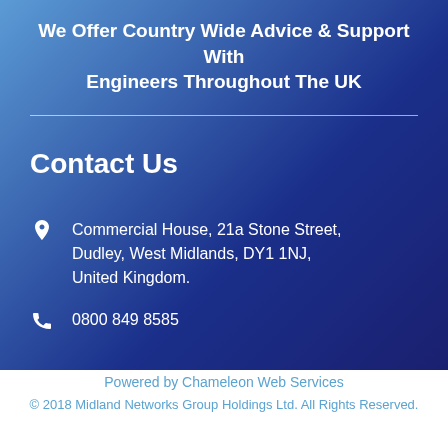We Offer Country Wide Advice & Support With Engineers Throughout The UK
Contact Us
Commercial House, 21a Stone Street, Dudley, West Midlands, DY1 1NJ, United Kingdom.
0800 849 8585
Powered by Chameleon Web Services
© 2018 Midland Networks Group Holdings Ltd. All Rights Reserved.